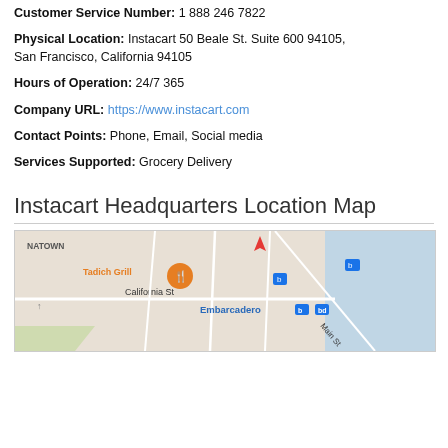Customer Service Number: 1 888 246 7822
Physical Location: Instacart 50 Beale St. Suite 600 94105, San Francisco, California 94105
Hours of Operation: 24/7 365
Company URL: https://www.instacart.com
Contact Points: Phone, Email, Social media
Services Supported: Grocery Delivery
Instacart Headquarters Location Map
[Figure (map): Google Maps view of Instacart headquarters area near Embarcadero, San Francisco, showing Tadich Grill, California St, Main St, and nearby transit stops.]